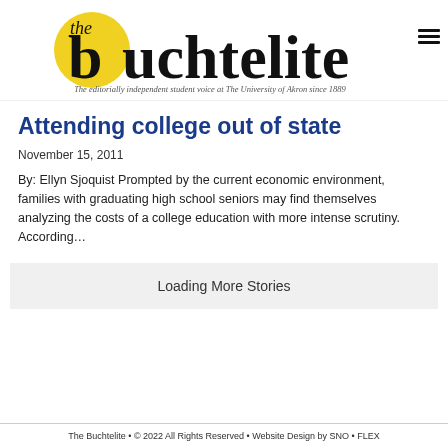[Figure (logo): The Buchtelite newspaper logo with yellow circle behind the 'b', serif masthead text reading 'the buchtelite', and italic tagline 'The editorially independent student voice at The University of Akron since 1889']
Attending college out of state
November 15, 2011
By: Ellyn Sjoquist Prompted by the current economic environment, families with graduating high school seniors may find themselves analyzing the costs of a college education with more intense scrutiny. According...
Loading More Stories
The Buchtelite • © 2022 All Rights Reserved • Website Design by SNO • FLEX